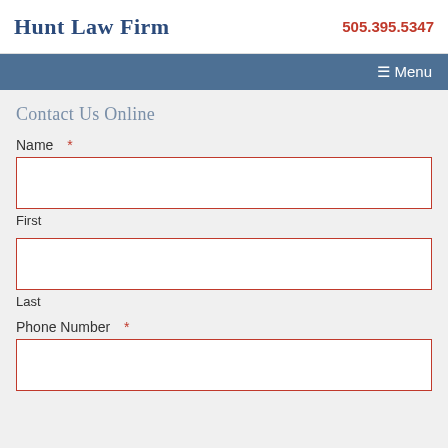Hunt Law Firm | 505.395.5347
≡ Menu
Contact Us Online
Name *
First
Last
Phone Number *